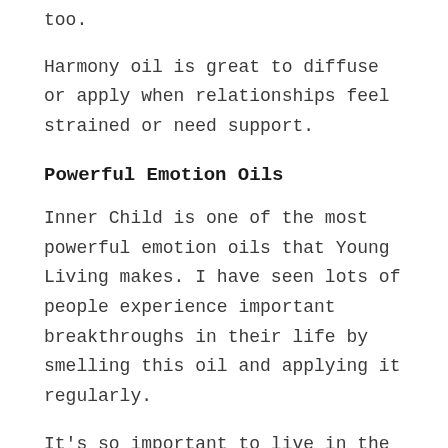too.
Harmony oil is great to diffuse or apply when relationships feel strained or need support.
Powerful Emotion Oils
Inner Child is one of the most powerful emotion oils that Young Living makes. I have seen lots of people experience important breakthroughs in their life by smelling this oil and applying it regularly.
It’s so important to live in the present. Present Time oil blend helps people live in the present. Oftentimes, we live in the past or the future and don’t really enjoy the present where